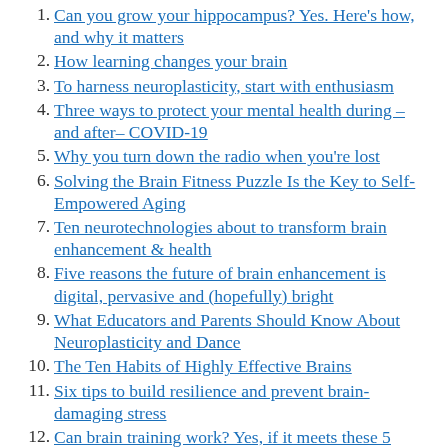1. Can you grow your hippocampus? Yes. Here's how, and why it matters
2. How learning changes your brain
3. To harness neuroplasticity, start with enthusiasm
4. Three ways to protect your mental health during –and after– COVID-19
5. Why you turn down the radio when you're lost
6. Solving the Brain Fitness Puzzle Is the Key to Self-Empowered Aging
7. Ten neurotechnologies about to transform brain enhancement & health
8. Five reasons the future of brain enhancement is digital, pervasive and (hopefully) bright
9. What Educators and Parents Should Know About Neuroplasticity and Dance
10. The Ten Habits of Highly Effective Brains
11. Six tips to build resilience and prevent brain-damaging stress
12. Can brain training work? Yes, if it meets these 5